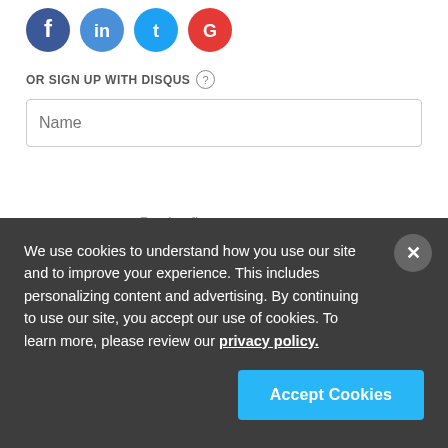[Figure (illustration): Social media login icons (Facebook blue, Twitter/X blue, Google red circles) partially visible at top]
OR SIGN UP WITH DISQUS ?
Name
Be the first to comment.
We use cookies to understand how you use our site and to improve your experience. This includes personalizing content and advertising. By continuing to use our site, you accept our use of cookies. To learn more, please review our privacy policy.
Accept Cookies